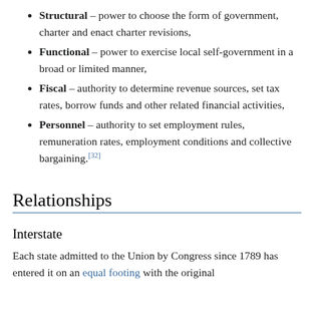Structural – power to choose the form of government, charter and enact charter revisions,
Functional – power to exercise local self-government in a broad or limited manner,
Fiscal – authority to determine revenue sources, set tax rates, borrow funds and other related financial activities,
Personnel – authority to set employment rules, remuneration rates, employment conditions and collective bargaining.[32]
Relationships
Interstate
Each state admitted to the Union by Congress since 1789 has entered it on an equal footing with the original